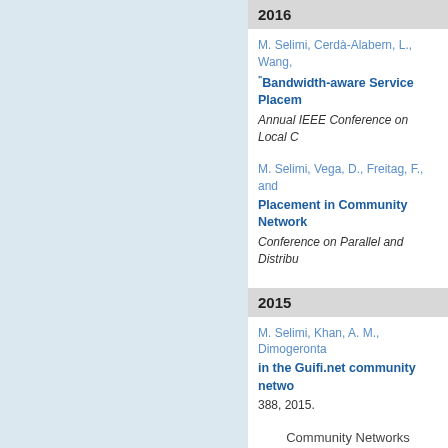2016
M. Selimi, Cerdà-Alabern, L., Wang,
"Bandwidth-aware Service Placem
Annual IEEE Conference on Local C
M. Selimi, Vega, D., Freitag, F., and
Placement in Community Network
Conference on Parallel and Distribu
2015
M. Selimi, Khan, A. M., Dimogeronta
in the Guifi.net community netwo
388, 2015.
Community Networks
R. Baig, Carbajales, R., Garcia, P. B
Pietrosemoli, E., Pueyo, R., Selimi,
distribution in community networ
Symposium on Integrated Network M
May, 2015, 2015, pp. 1161–1162.